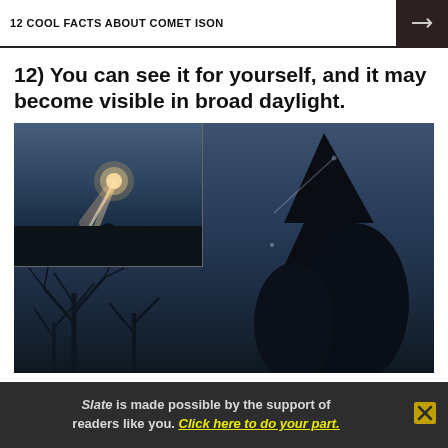12 COOL FACTS ABOUT COMET ISON
12) You can see it for yourself, and it may become visible in broad daylight.
[Figure (photo): Two composite night-sky photographs showing Comet ISON: an inset image (top left) showing the comet with a bright glowing head and tail against a dark blue sky, and a larger main image showing silhouettes of bare trees and a tall conifer against a dark twilight sky with a faint streak of the comet visible.]
Slate is made possible by the support of readers like you. Click here to do your part.